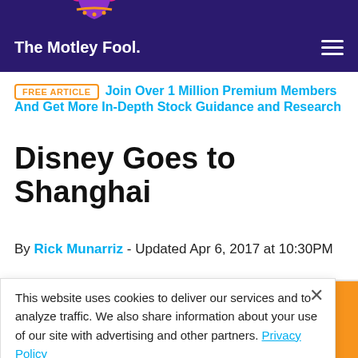The Motley Fool
FREE ARTICLE  Join Over 1 Million Premium Members And Get More In-Depth Stock Guidance and Research
Disney Goes to Shanghai
By Rick Munarriz - Updated Apr 6, 2017 at 10:30PM
This website uses cookies to deliver our services and to analyze traffic. We also share information about your use of our site with advertising and other partners. Privacy Policy
Got it
Cookie Settings